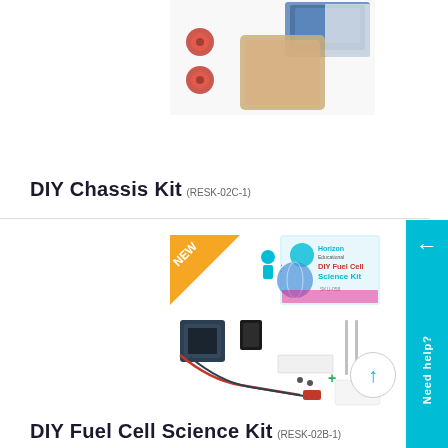[Figure (photo): Partially visible DIY Chassis Kit robot product image showing red wheels and brown chassis component]
DIY Chassis Kit (RESK-02C-1)
[Figure (photo): DIY Fuel Cell Science Kit product image showing fuel cell components, wires, electrodes, and Horizon Educational branded box with NEW badge]
DIY Fuel Cell Science Kit (RESK-02B-1)